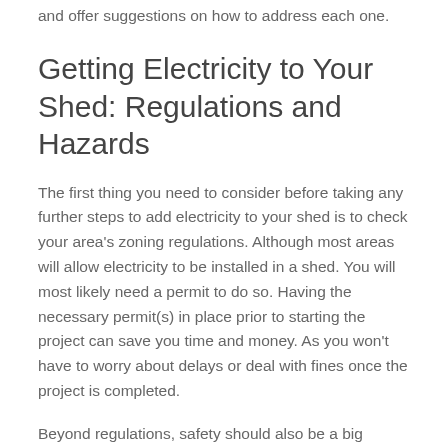and offer suggestions on how to address each one.
Getting Electricity to Your Shed: Regulations and Hazards
The first thing you need to consider before taking any further steps to add electricity to your shed is to check your area's zoning regulations. Although most areas will allow electricity to be installed in a shed. You will most likely need a permit to do so. Having the necessary permit(s) in place prior to starting the project can save you time and money. As you won't have to worry about delays or deal with fines once the project is completed.
Beyond regulations, safety should also be a big consideration. Working with live electricity is an